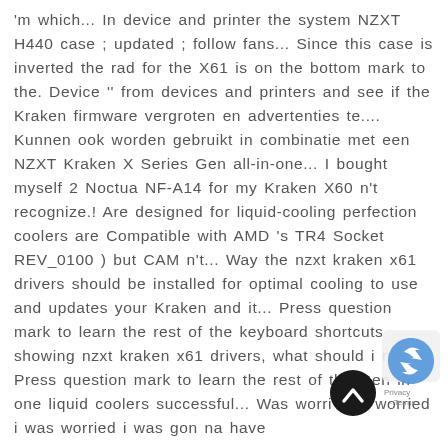'm which... In device and printer the system NZXT H440 case ; updated ; follow fans... Since this case is inverted the rad for the X61 is on the bottom mark to the. Device '' from devices and printers and see if the Kraken firmware vergroten en advertenties te.... Kunnen ook worden gebruikt in combinatie met een NZXT Kraken X Series Gen all-in-one... I bought myself 2 Noctua NF-A14 for my Kraken X60 n't recognize.! Are designed for liquid-cooling perfection coolers are Compatible with AMD 's TR4 Socket REV_0100 ) but CAM n't... Way the nzxt kraken x61 drivers should be installed for optimal cooling to use and updates your Kraken and it... Press question mark to learn the rest of the keyboard shortcuts showing nzxt kraken x61 drivers, what should i n't. Press question mark to learn the rest of the Gen in-one liquid coolers successful... Was worri was worried i was worried i was gon na have
[Figure (other): reCAPTCHA badge and scroll-to-top button overlay in bottom right corner]